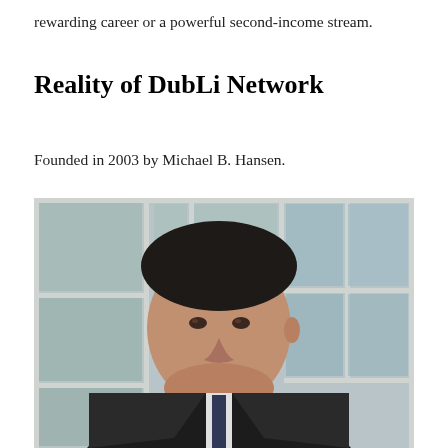rewarding career or a powerful second-income stream.
Reality of DubLi Network
Founded in 2003 by Michael B. Hansen.
[Figure (photo): Portrait photo of Michael B. Hansen, a man with dark spiky hair wearing a dark suit jacket, photographed in front of windows with glass panes in the background.]